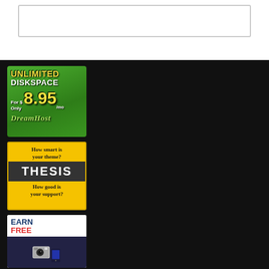[Figure (screenshot): Top white bar area with a rectangular outline element, part of a webpage header]
[Figure (illustration): DreamHost advertisement: green gradient background, text 'UNLIMITED DISKSPACE For $ 8.95 /mo DreamHost']
[Figure (illustration): Thesis theme advertisement: yellow background with dark middle band, text 'How smart is your theme? THESIS How good is your support?']
[Figure (illustration): Earn Free Prizes advertisement: white background with blue and red text 'EARN FREE PRIZES' and product images at bottom]